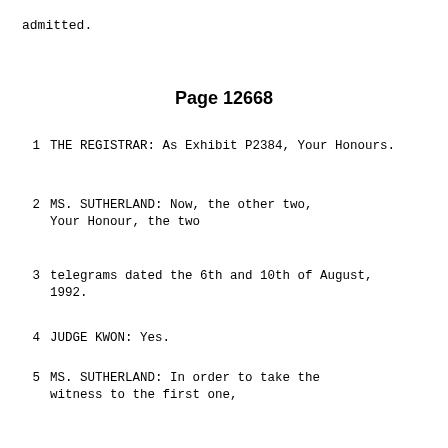admitted.
Page 12668
1    THE REGISTRAR:  As Exhibit P2384, Your Honours.
2    MS. SUTHERLAND:  Now, the other two, Your Honour, the two
3    telegrams dated the 6th and 10th of August, 1992.
4    JUDGE KWON:  Yes.
5    MS. SUTHERLAND:  In order to take the witness to the first one,